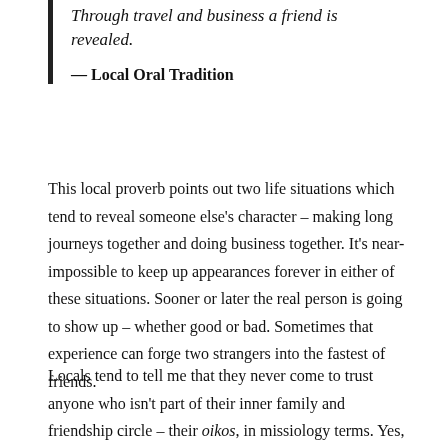Through travel and business a friend is revealed.
— Local Oral Tradition
This local proverb points out two life situations which tend to reveal someone else's character – making long journeys together and doing business together. It's near-impossible to keep up appearances forever in either of these situations. Sooner or later the real person is going to show up – whether good or bad. Sometimes that experience can forge two strangers into the fastest of friends.
Locals tend to tell me that they never come to trust anyone who isn't part of their inner family and friendship circle – their oikos, in missiology terms. Yes, we have massive trust issues in this part of the world